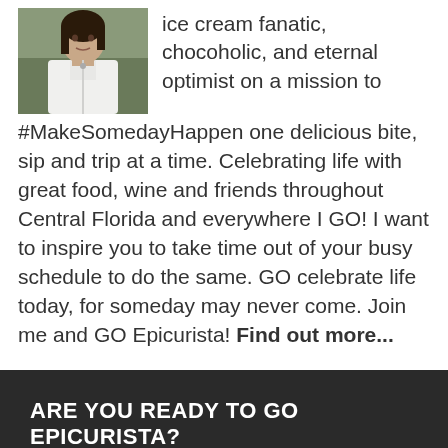[Figure (photo): Profile photo of a woman with dark hair wearing a white shirt, photographed outdoors]
ice cream fanatic, chocoholic, and eternal optimist on a mission to #MakeSomedayHappen one delicious bite, sip and trip at a time. Celebrating life with great food, wine and friends throughout Central Florida and everywhere I GO! I want to inspire you to take time out of your busy schedule to do the same. GO celebrate life today, for someday may never come. Join me and GO Epicurista! Find out more...
ARE YOU READY TO GO EPICURISTA?
Get the latest updates delivered to your mailbox and don't miss out on the GO Epicurista Insider Experience!